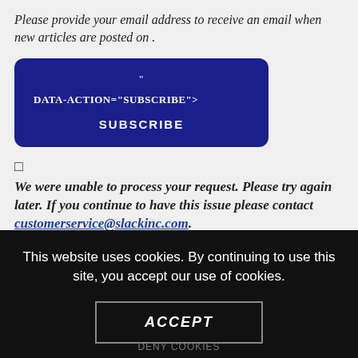Please provide your email address to receive an email when new articles are posted on .
[Figure (other): Blue rounded rectangle button/box showing subscribe form code snippet with quote mark, DATA-ACTION="SUBSCRIBE"> text, and SUBSCRIBE label]
☐
We were unable to process your request. Please try again later. If you continue to have this issue please contact customerservice@slackinc.com.
BACK TO HEALIO
This website uses cookies. By continuing to use this site, you accept our use of cookies.
ACCEPT
DENY COOKIES